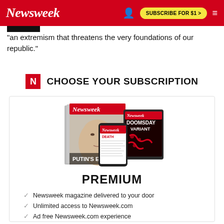Newsweek | SUBSCRIBE FOR $1 >
"an extremism that threatens the very foundations of our republic."
CHOOSE YOUR SUBSCRIPTION
[Figure (illustration): Newsweek magazine covers and digital devices showing PUTIN'S END and DOOMSDAY VARIANT covers]
PREMIUM
Newsweek magazine delivered to your door
Unlimited access to Newsweek.com
Ad free Newsweek.com experience